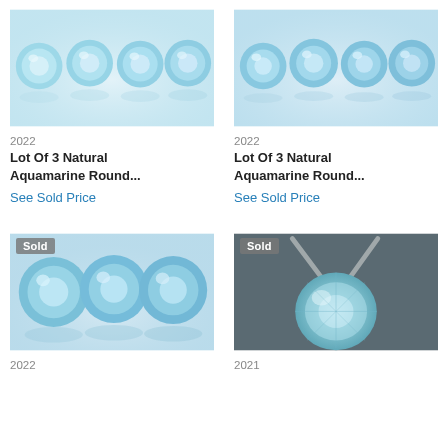[Figure (photo): Four round aquamarine gemstones arranged in a row on a light gray reflective surface, top-left item]
2022
Lot Of 3 Natural Aquamarine Round...
See Sold Price
[Figure (photo): Four round aquamarine gemstones arranged in a row on a light gray reflective surface, top-right item]
2022
Lot Of 3 Natural Aquamarine Round...
See Sold Price
[Figure (photo): Three round aquamarine gemstones on a light reflective surface with Sold badge overlay, bottom-left item]
2022
[Figure (photo): Single round aquamarine gemstone held by metal tweezers on dark background with Sold badge overlay, bottom-right item]
2021